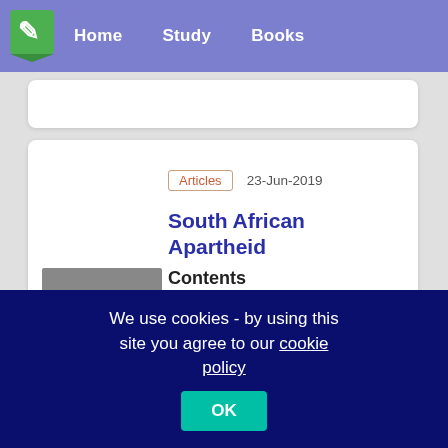Home   Study   Books
Articles   23-Jun-2019
South African Apartheid
[Figure (photo): Black and white photograph of protesters holding a 'Free South Africa' sign]
Contents
1. South Africa
2. The Two Boer Wars
3. Condition of the Blacks before 1948
4. Gandhiji in South Africa
5. Apartheid Laws (1948-54)
We use cookies - by using this site you agree to our cookie policy   OK